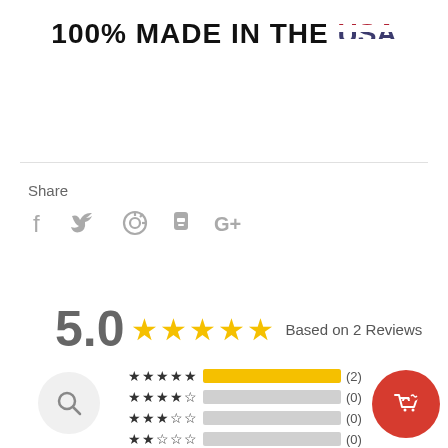100% MADE IN THE USA
Share
[Figure (infographic): Social media share icons: Facebook, Twitter, Pinterest, Fancy, Google+]
5.0 ★★★★★ Based on 2 Reviews
[Figure (bar-chart): Rating breakdown: 5 stars (2), 4 stars (0), 3 stars (0), 2 stars (0), 1 star (0)]